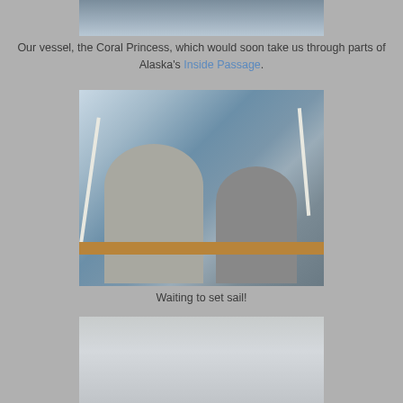[Figure (photo): Top portion of a cruise ship deck, showing railings and ship structure]
Our vessel, the Coral Princess, which would soon take us through parts of Alaska's Inside Passage.
[Figure (photo): A couple standing on the deck of the Coral Princess cruise ship with snowy mountains and water visible in the background. The man is wearing a grey hoodie and the woman is wearing a grey jacket.]
Waiting to set sail!
[Figure (photo): Partial view of sky and scenery from the cruise ship, bottom of page]